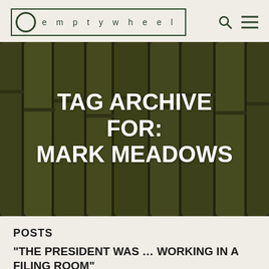emptywheel
[Figure (photo): Close-up photo of bamboo stalks with dark olive-green tones, used as hero background image]
TAG ARCHIVE FOR: MARK MEADOWS
POSTS
“THE PRESIDENT WAS … WORKING IN A FILING ROOM”